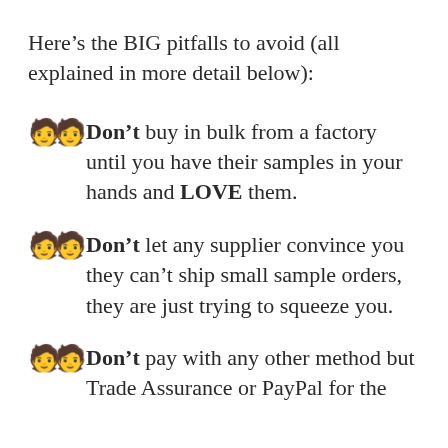Here’s the BIG pitfalls to avoid (all explained in more detail below):
Don’t buy in bulk from a factory until you have their samples in your hands and LOVE them.
Don’t let any supplier convince you they can’t ship small sample orders, they are just trying to squeeze you.
Don’t pay with any other method but Trade Assurance or PayPal for the